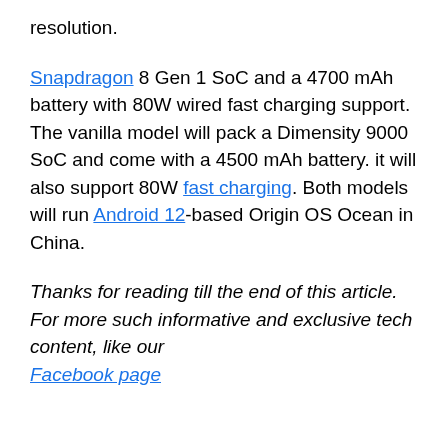resolution.
The Pro model is also rumoured to feature a Snapdragon 8 Gen 1 SoC and a 4700 mAh battery with 80W wired fast charging support. The vanilla model will pack a Dimensity 9000 SoC and come with a 4500 mAh battery. it will also support 80W fast charging. Both models will run Android 12-based Origin OS Ocean in China.
Thanks for reading till the end of this article. For more such informative and exclusive tech content, like our Facebook page